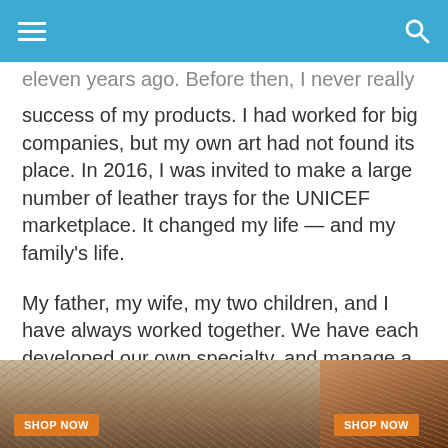≡  [hamburger menu]   [search icon]
eleven years ago. Before then, I never really felt the success of my products. I had worked for big companies, but my own art had not found its place. In 2016, I was invited to make a large number of leather trays for the UNICEF marketplace. It changed my life — and my family's life.
My father, my wife, my two children, and I have always worked together. We have each developed our own specialty, and manage a different part of the production process. We support each other and try to support others in our community.
[Figure (photo): Two product photos side by side with 'SHOP NOW' buttons. Left photo shows leather goods on a burlap/rustic background. Right photo shows a dark leather item close-up.]